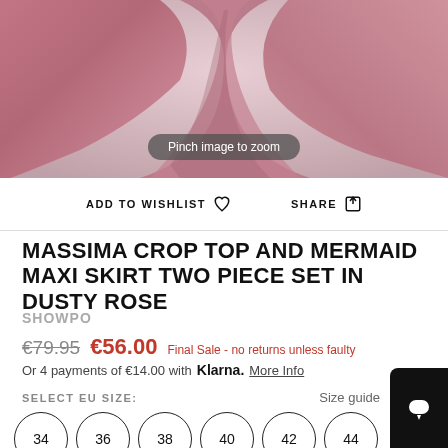[Figure (photo): Close-up photo of a dusty rose mermaid maxi skirt draped fabric, with a 'Pinch image to zoom' pill overlay]
ADD TO WISHLIST  SHARE
MASSIMA CROP TOP AND MERMAID MAXI SKIRT TWO PIECE SET IN DUSTY ROSE
SHOWPO
€79.95  €56.00  Final Sale - no returns unless faulty
Or 4 payments of €14.00 with Klarna.  More Info
SELECT EU SIZE:
Size guide
34  36  38  40  42  44